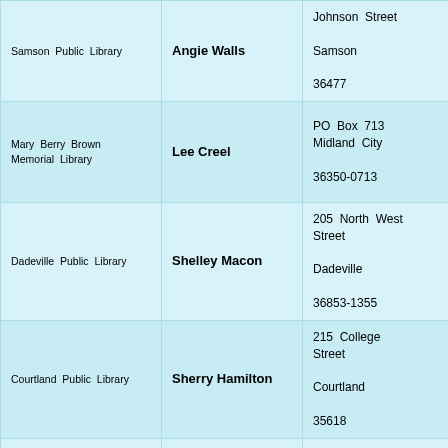| Library | Contact | Address | Phone |
| --- | --- | --- | --- |
| Samson Public Library | Angie Walls | Johnson Street
Samson
36477 | (334) 7806
(334) 7806 |
| Mary Berry Brown Memorial Library | Lee Creel | PO Box 713 Midland City
36350-0713 | (334) 9999
(334) 9999 |
| Dadeville Public Library | Shelley Macon | 205 North West Street
Dadeville
36853-1355 | (256) 7820
(866) 1944 |
| Courtland Public Library | Sherry Hamilton | 215 College Street
Courtland
35618 | (256) 8888
Not available |
|  |  | 4549 Highway 55 East |  |